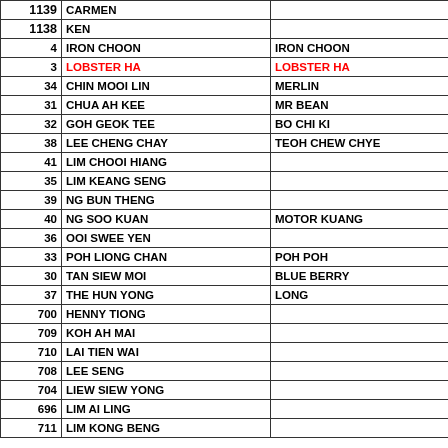| No. | Name | Alias |
| --- | --- | --- |
| 1139 | CARMEN |  |
| 1138 | KEN |  |
| 4 | IRON CHOON | IRON CHOON |
| 3 | LOBSTER HA | LOBSTER HA |
| 34 | CHIN MOOI LIN | MERLIN |
| 31 | CHUA AH KEE | MR BEAN |
| 32 | GOH GEOK TEE | BO CHI KI |
| 38 | LEE CHENG CHAY | TEOH CHEW CHYE |
| 41 | LIM CHOOI HIANG |  |
| 35 | LIM KEANG SENG |  |
| 39 | NG BUN THENG |  |
| 40 | NG SOO KUAN | MOTOR KUANG |
| 36 | OOI SWEE YEN |  |
| 33 | POH LIONG CHAN | POH POH |
| 30 | TAN SIEW MOI | BLUE BERRY |
| 37 | THE HUN YONG | LONG |
| 700 | HENNY TIONG |  |
| 709 | KOH AH MAI |  |
| 710 | LAI TIEN WAI |  |
| 708 | LEE SENG |  |
| 704 | LIEW SIEW YONG |  |
| 696 | LIM AI LING |  |
| 711 | LIM KONG BENG |  |